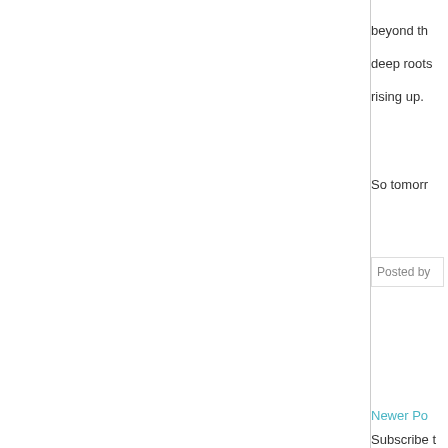beyond th... deep roots... rising up.
So tomorr...
Posted by
Newer Po...
Subscribe t...